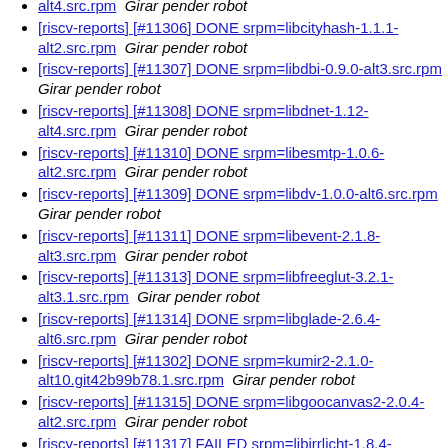[riscv-reports] [#11306] DONE srpm=libcityhash-1.1.1-alt2.src.rpm   Girar pender robot
[riscv-reports] [#11307] DONE srpm=libdbi-0.9.0-alt3.src.rpm   Girar pender robot
[riscv-reports] [#11308] DONE srpm=libdnet-1.12-alt4.src.rpm   Girar pender robot
[riscv-reports] [#11310] DONE srpm=libesmtp-1.0.6-alt2.src.rpm   Girar pender robot
[riscv-reports] [#11309] DONE srpm=libdv-1.0.0-alt6.src.rpm   Girar pender robot
[riscv-reports] [#11311] DONE srpm=libevent-2.1.8-alt3.src.rpm   Girar pender robot
[riscv-reports] [#11313] DONE srpm=libfreeglut-3.2.1-alt3.1.src.rpm   Girar pender robot
[riscv-reports] [#11314] DONE srpm=libglade-2.6.4-alt6.src.rpm   Girar pender robot
[riscv-reports] [#11302] DONE srpm=kumir2-2.1.0-alt10.git42b99b78.1.src.rpm   Girar pender robot
[riscv-reports] [#11315] DONE srpm=libgoocanvas2-2.0.4-alt2.src.rpm   Girar pender robot
[riscv-reports] [#11317] FAILED srpm=libirrlicht-1.8.4-alt4.src.rpm   Girar awaiter robot
[riscv-reports] [#11316] DONE srpm=libid3tag-0.15.1b-alt10.src.rpm   Girar pender robot